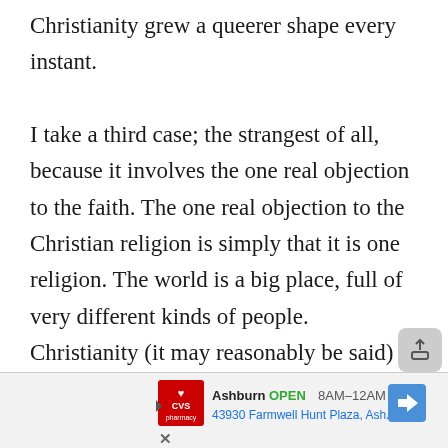Christianity grew a queerer shape every instant.

I take a third case; the strangest of all, because it involves the one real objection to the faith. The one real objection to the Christian religion is simply that it is one religion. The world is a big place, full of very different kinds of people. Christianity (it may reasonably be said) is one thing confined to one kind of people; it began in Palestine, it has
[Figure (screenshot): Advertisement banner for CVS Pharmacy in Ashburn, showing OPEN 8AM-12AM, address 43930 Farmwell Hunt Plaza, Ash..., with CVS logo, navigation arrow icon, play button, and an upload/share button.]